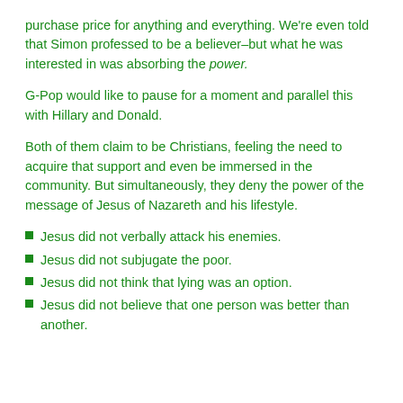purchase price for anything and everything. We're even told that Simon professed to be a believer–but what he was interested in was absorbing the power.
G-Pop would like to pause for a moment and parallel this with Hillary and Donald.
Both of them claim to be Christians, feeling the need to acquire that support and even be immersed in the community. But simultaneously, they deny the power of the message of Jesus of Nazareth and his lifestyle.
Jesus did not verbally attack his enemies.
Jesus did not subjugate the poor.
Jesus did not think that lying was an option.
Jesus did not believe that one person was better than another.